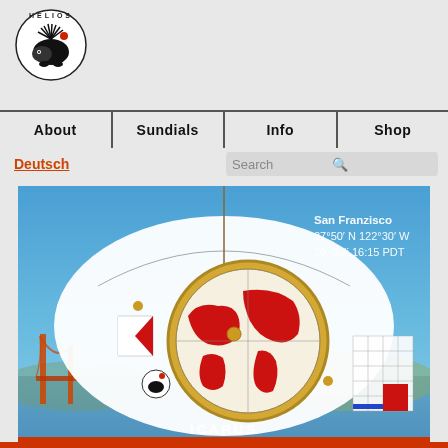[Figure (logo): Helios logo — circular badge with a stylized black hedgehog/sun graphic and a red dot, text 'HELIOS' around the top arc]
About   Sundials   Info   Shop
Deutsch
Search
[Figure (photo): Photo of the Icarus sundial instrument — a circular brass-framed globe dial with red world map continents, mounted on a white elliptical plate with scales and red/white triangular indicators, suspended by a thread, with San Francisco's Golden Gate Bridge visible in the background. Text overlay: San Francisco 37°50' N 122°30' W 20. Juli 16:15 PDT. Label 'ICARUS' at bottom.]